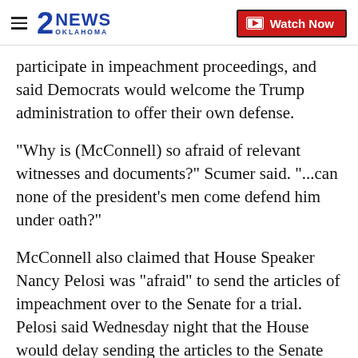2NEWS OKLAHOMA | Watch Now
participate in impeachment proceedings, and said Democrats would welcome the Trump administration to offer their own defense.
"Why is (McConnell) so afraid of relevant witnesses and documents?" Scumer said. "...can none of the president's men come defend him under oath?"
McConnell also claimed that House Speaker Nancy Pelosi was "afraid" to send the articles of impeachment over to the Senate for a trial. Pelosi said Wednesday night that the House would delay sending the articles to the Senate until she could get assurances that the Senate would hold a fair trial.